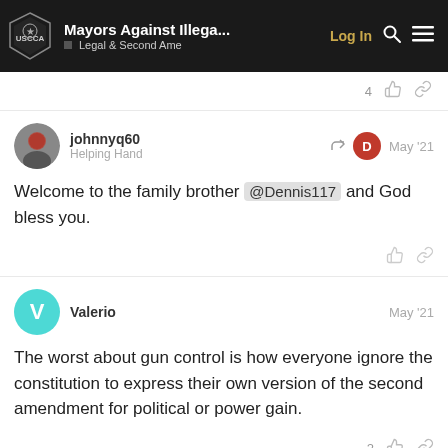Mayors Against Illega... | Legal & Second Ame | Log In
4
johnnyq60
Helping Hand
May '21
Welcome to the family brother @Dennis117 and God bless you.
Valerio
May '21
The worst about gun control is how everyone ignore the constitution to express their own version of the second amendment for political or power gain.
2